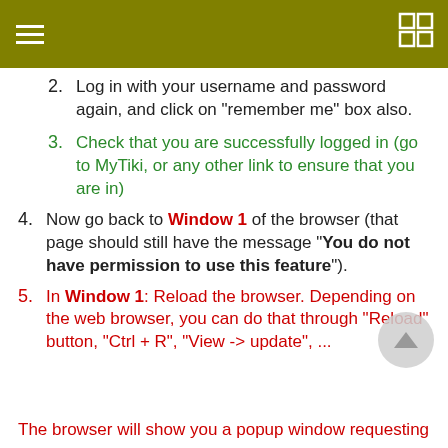TikiWiki Documentation - header bar
2. Log in with your username and password again, and click on "remember me" box also.
3. Check that you are successfully logged in (go to MyTiki, or any other link to ensure that you are in)
4. Now go back to Window 1 of the browser (that page should still have the message "You do not have permission to use this feature").
5. In Window 1: Reload the browser. Depending on the web browser, you can do that through "Reload" button, "Ctrl + R", "View -> update", ...
The browser will show you a popup window requesting